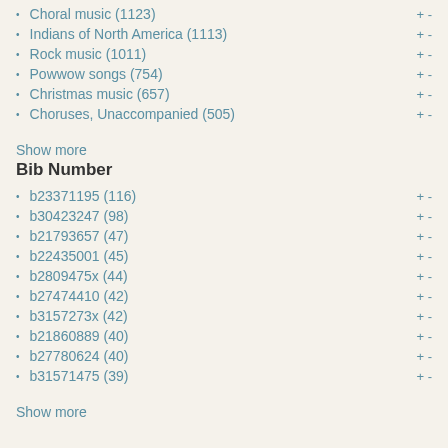Choral music (1123)
Indians of North America (1113)
Rock music (1011)
Powwow songs (754)
Christmas music (657)
Choruses, Unaccompanied (505)
Show more
Bib Number
b23371195 (116)
b30423247 (98)
b21793657 (47)
b22435001 (45)
b2809475x (44)
b27474410 (42)
b3157273x (42)
b21860889 (40)
b27780624 (40)
b31571475 (39)
Show more